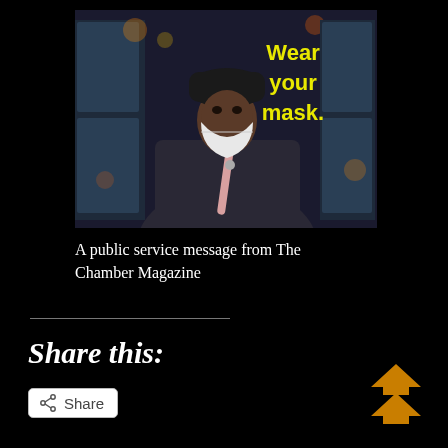[Figure (photo): Photo of a person wearing a white face mask and black head covering, standing in front of store refrigerators with bokeh lighting. Yellow bold text overlay reads 'Wear your mask.' in the upper right corner of the photo.]
A public service message from The Chamber Magazine
Share this:
[Figure (other): Share button with share icon and text 'Share']
[Figure (other): Orange upward double-arrow / scroll-to-top button icon in the bottom right corner]